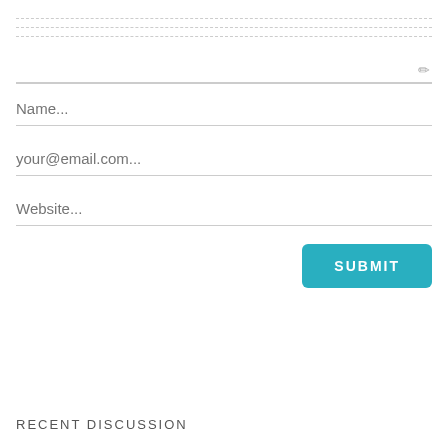Name...
your@email.com...
Website...
SUBMIT
RECENT DISCUSSION